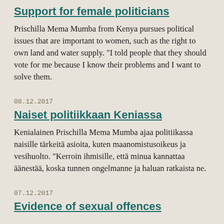Support for female politicians
Prischilla Mema Mumba from Kenya pursues political issues that are important to women, such as the right to own land and water supply. “I told people that they should vote for me because I know their problems and I want to solve them.
08.12.2017
Naiset politiikkaan Keniassa
Kenialainen Prischilla Mema Mumba ajaa politiikassa naisille tärkeitä asioita, kuten maanomistusoikeus ja vesihuolto. “Kerroin ihmisille, että minua kannattaa äänestää, koska tunnen ongelmanne ja haluan ratkaista ne.
07.12.2017
Evidence of sexual offences